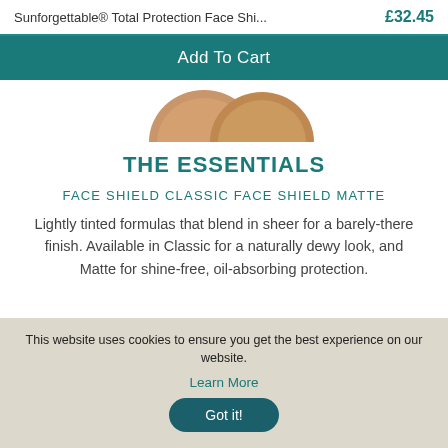Sunforgettable® Total Protection Face Shi...   £32.45
Add To Cart
[Figure (photo): Two round compact powder product containers partially visible, tan/beige colored, cropped at top]
THE ESSENTIALS
FACE SHIELD CLASSIC FACE SHIELD MATTE
Lightly tinted formulas that blend in sheer for a barely-there finish. Available in Classic for a naturally dewy look, and Matte for shine-free, oil-absorbing protection.
This website uses cookies to ensure you get the best experience on our website.
Learn More
Got it!